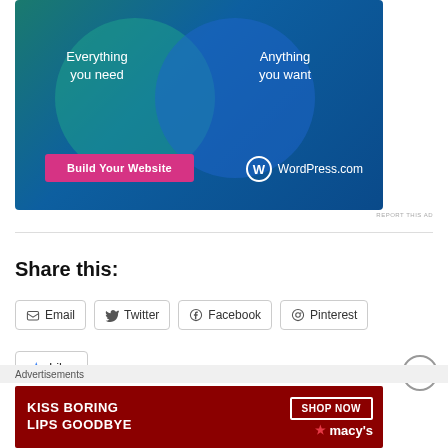[Figure (illustration): WordPress.com advertisement with teal-blue gradient background, two overlapping circles (Venn diagram style), text 'Everything you need' on left and 'Anything you want' on right, a pink 'Build Your Website' button, and WordPress.com logo]
REPORT THIS AD
Share this:
Email
Twitter
Facebook
Pinterest
Like
Advertisements
[Figure (illustration): Macy's advertisement with dark red background showing woman's face with red lips, 'KISS BORING LIPS GOODBYE' text, 'SHOP NOW' button, and Macy's logo with star]